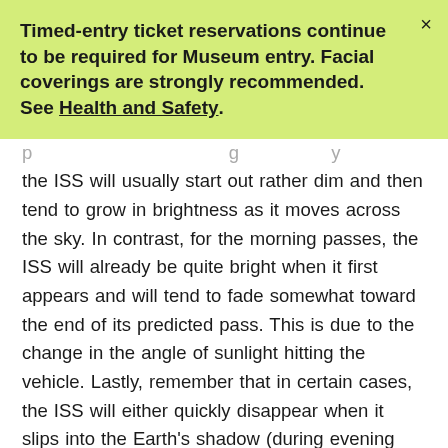Timed-entry ticket reservations continue to be required for Museum entry. Facial coverings are strongly recommended. See Health and Safety.
the ISS will usually start out rather dim and then tend to grow in brightness as it moves across the sky. In contrast, for the morning passes, the ISS will already be quite bright when it first appears and will tend to fade somewhat toward the end of its predicted pass. This is due to the change in the angle of sunlight hitting the vehicle. Lastly, remember that in certain cases, the ISS will either quickly disappear when it slips into the Earth's shadow (during evening passes) or quite suddenly appear when it slips out of the Earth's shadow (during morning passes). This is because it is